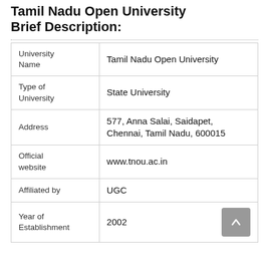Tamil Nadu Open University Brief Description:
| University Name | Tamil Nadu Open University |
| Type of University | State University |
| Address | 577, Anna Salai, Saidapet, Chennai, Tamil Nadu, 600015 |
| Official website | www.tnou.ac.in |
| Affiliated by | UGC |
| Year of Establishment | 2002 |